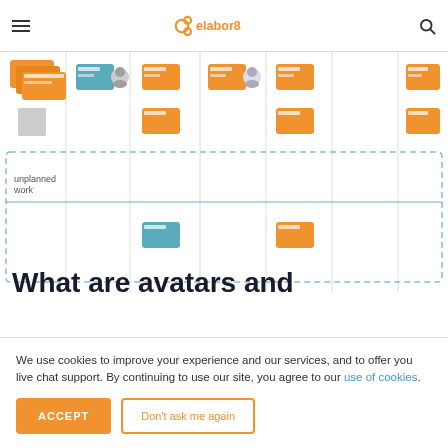elabor8 — navigation header with hamburger menu, logo, and search icon
[Figure (screenshot): Kanban/Jira-style board showing columns with orange and teal card icons, some with avatar overlays. A dashed-border row labeled 'unplanned work' spans the bottom of the board with a horizontal teal line through it. Some columns contain orange and teal card icons.]
What are avatars and
We use cookies to improve your experience and our services, and to offer you live chat support. By continuing to use our site, you agree to our use of cookies.
ACCEPT
Don't ask me again